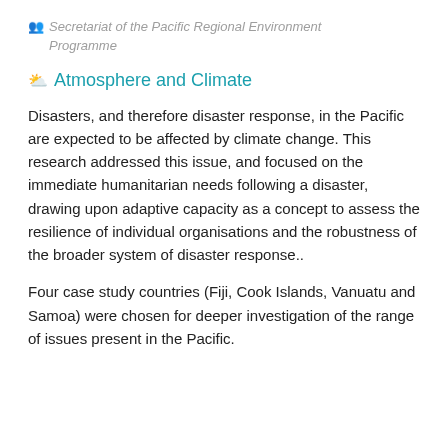Secretariat of the Pacific Regional Environment Programme
Atmosphere and Climate
Disasters, and therefore disaster response, in the Pacific are expected to be affected by climate change. This research addressed this issue, and focused on the immediate humanitarian needs following a disaster, drawing upon adaptive capacity as a concept to assess the resilience of individual organisations and the robustness of the broader system of disaster response..
Four case study countries (Fiji, Cook Islands, Vanuatu and Samoa) were chosen for deeper investigation of the range of issues present in the Pacific.